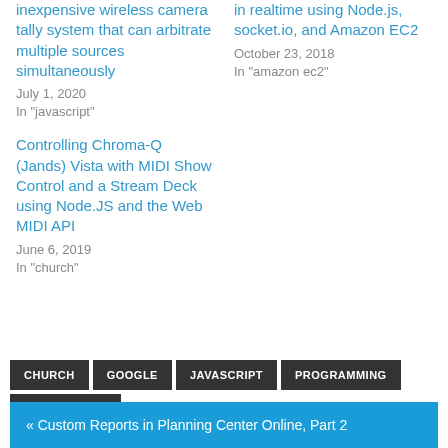inexpensive wireless camera tally system that can arbitrate multiple sources simultaneously
July 1, 2020
In "javascript"
in realtime using Node.js, socket.io, and Amazon EC2
October 23, 2018
In "amazon ec2"
Controlling Chroma-Q (Jands) Vista with MIDI Show Control and a Stream Deck using Node.JS and the Web MIDI API
June 6, 2019
In "church"
CHURCH
GOOGLE
JAVASCRIPT
PROGRAMMING
TECHNOLOGY
« Custom Reports in Planning Center Online, Part 2